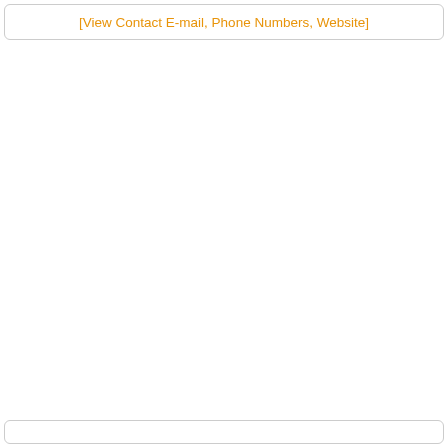[View Contact E-mail, Phone Numbers, Website]